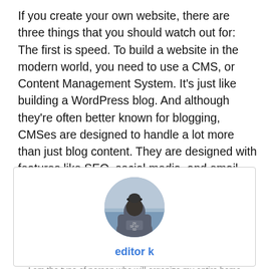If you create your own website, there are three things that you should watch out for: The first is speed. To build a website in the modern world, you need to use a CMS, or Content Management System. It's just like building a WordPress blog. And although they're often better known for blogging, CMSes are designed to handle a lot more than just blog content. They are designed with features like SEO, social media, and email marketing in mind.
[Figure (photo): Circular avatar photo of a person seen from behind wearing a hoodie, standing near water]
editor k
I am the type of person who will organize my entire home (including closets) based on what I need for vacation.